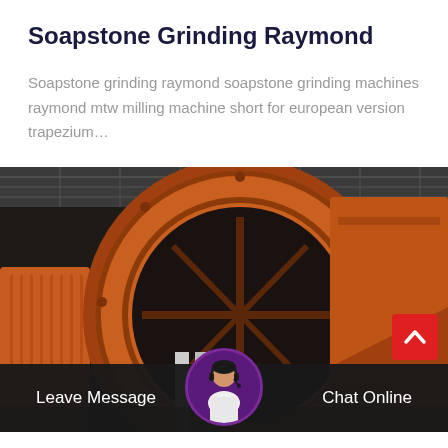Soapstone Grinding Raymond
Soapstone grinding raymond soapstone grinding machines raymond mtw milling machine short for european version trapezium…
[Figure (photo): Industrial grinding/milling machine, large orange/rust-colored cylindrical drum with circular opening, inside an industrial warehouse with steel roof structure visible. Large industrial ball mill or Raymond mill equipment.]
Leave Message
Chat Online